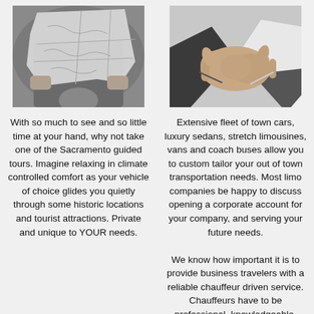[Figure (photo): Black and white photo of a person reading a map]
[Figure (photo): Black and white photo of two people shaking hands in business attire]
With so much to see and so little time at your hand, why not take one of the Sacramento guided tours. Imagine relaxing in climate controlled comfort as your vehicle of choice glides you quietly through some historic locations and tourist attractions. Private and unique to YOUR needs.
Extensive fleet of town cars, luxury sedans, stretch limousines, vans and coach buses allow you to custom tailor your out of town transportation needs. Most limo companies be happy to discuss opening a corporate account for your company, and serving your future needs.

We know how important it is to provide business travelers with a reliable chauffeur driven service. Chauffeurs have to be professional, knowledgeable, discreet,